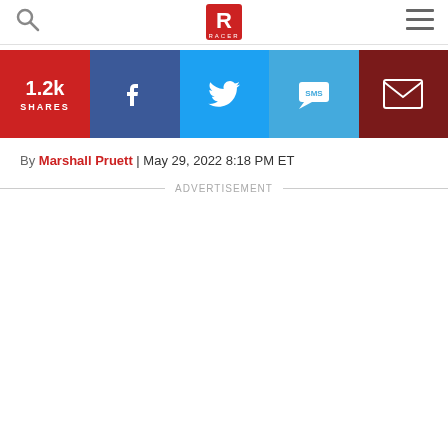RACER
[Figure (other): Share bar with 1.2k shares count, Facebook, Twitter, SMS, and Email buttons]
By Marshall Pruett | May 29, 2022 8:18 PM ET
ADVERTISEMENT